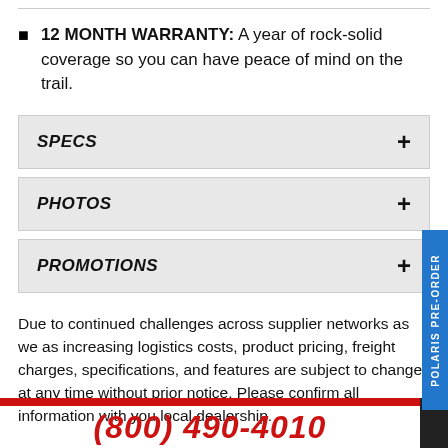12 MONTH WARRANTY: A year of rock-solid coverage so you can have peace of mind on the trail.
SPECS
PHOTOS
PROMOTIONS
Due to continued challenges across supplier networks as well as increasing logistics costs, product pricing, freight charges, specifications, and features are subject to change at any time without prior notice. Please confirm all information with your local dealership.
(800) 490-4010